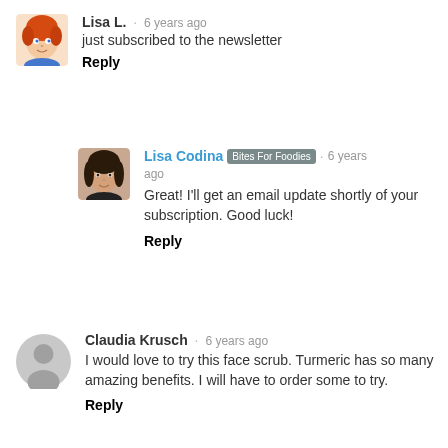[Figure (illustration): Avatar of Lisa L., animated character with red/orange hair]
Lisa L. · 6 years ago
just subscribed to the newsletter
Reply
[Figure (photo): Photo of Lisa Codina, a woman with dark hair]
Lisa Codina Bites For Foodies · 6 years ago
Great! I'll get an email update shortly of your subscription. Good luck!
Reply
[Figure (illustration): Generic gray placeholder avatar silhouette]
Claudia Krusch · 6 years ago
I would love to try this face scrub. Turmeric has so many amazing benefits. I will have to order some to try.
Reply